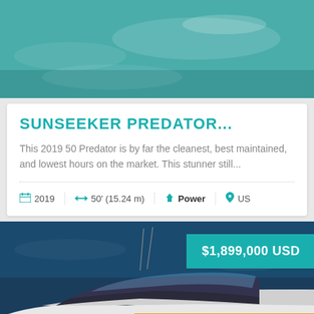[Figure (photo): Aerial view of turquoise/teal ocean water]
SUNSEEKER PREDATOR...
This 2019 50 Predator is by far the cleanest, best maintained, and lowest hours on the market. This stunner still...
2019 | 50' (15.24 m) | Power | US
[Figure (photo): Luxury motor yacht underway on dark blue ocean water, with price badge showing $1,899,000 USD and a Chat now button]